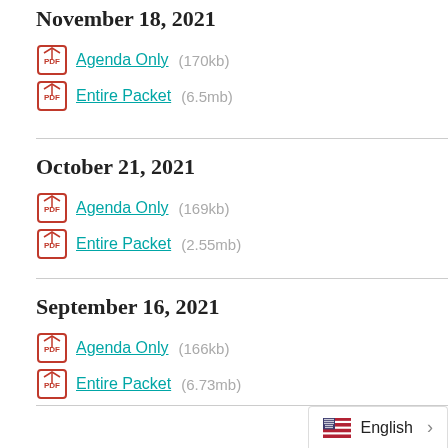November 18, 2021
Agenda Only  (170kb)
Entire Packet  (6.5mb)
October 21, 2021
Agenda Only  (169kb)
Entire Packet  (2.55mb)
September 16, 2021
Agenda Only  (166kb)
Entire Packet  (6.73mb)
English